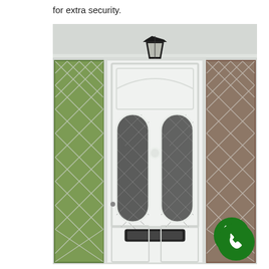for extra security.
[Figure (photo): White uPVC composite front door with two diamond-leaded glass panels, flanked by matching leaded side panels, a black lantern light above the door, a letterbox at the bottom, and a green WhatsApp/phone call button icon in the lower right corner.]